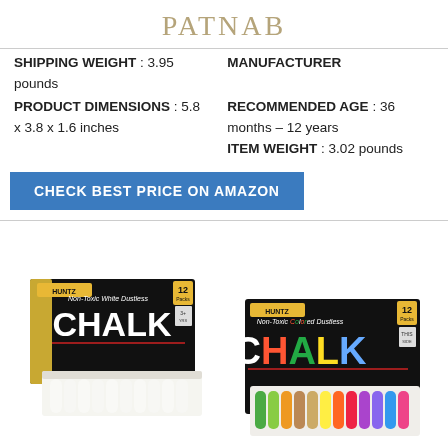PATNAB
| SHIPPING WEIGHT : 3.95 pounds | MANUFACTURER |
| PRODUCT DIMENSIONS : 5.8 x 3.8 x 1.6 inches | RECOMMENDED AGE : 36 months – 12 years
ITEM WEIGHT : 3.02 pounds |
CHECK BEST PRICE ON AMAZON
[Figure (photo): Two boxes of Huntz Non-Toxic Dustless Chalk — one white chalk box open showing white chalk pieces, and one colored chalk box open showing multicolored chalk pieces arranged in a row]